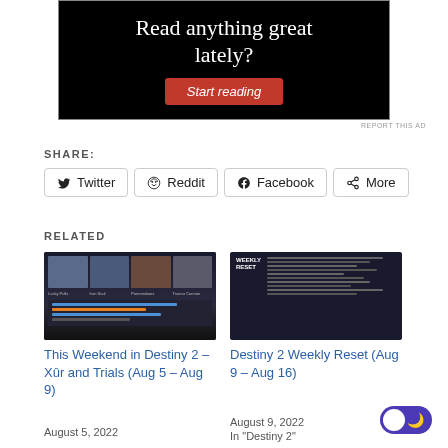[Figure (screenshot): Black advertisement banner with text 'Read anything great lately?' and a red 'Start reading' button]
REPORT THIS AD
SHARE:
Twitter  Reddit  Facebook  More
RELATED
[Figure (screenshot): Destiny 2 game UI screenshot showing weekly content grid with Lucky Pulls, Iron Soul, Premonitions, Tractor Cannon sections]
This Weekend in Destiny 2 – Xûr and Trials (Aug 5 – Aug 9)
August 5, 2022
[Figure (screenshot): Destiny 2 Weekly Reset screen showing game information table]
Destiny 2 Weekly Reset (Aug 9 – Aug 16)
August 9, 2022
In "Destiny 2"